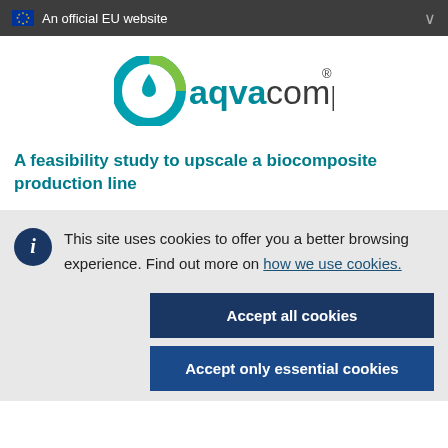An official EU website
[Figure (logo): Aqvacomp logo with teal and green circular icon and the text 'aqvacomp' with registered trademark symbol]
A feasibility study to upscale a biocomposite production line
This site uses cookies to offer you a better browsing experience. Find out more on how we use cookies.
Accept all cookies
Accept only essential cookies